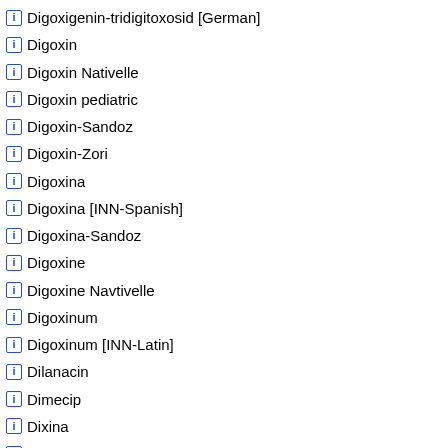Digoxigenin-tridigitoxosid [German]
Digoxin
Digoxin Nativelle
Digoxin pediatric
Digoxin-Sandoz
Digoxin-Zori
Digoxina
Digoxina [INN-Spanish]
Digoxina-Sandoz
Digoxine
Digoxine Navtivelle
Digoxinum
Digoxinum [INN-Latin]
Dilanacin
Dimecip
Dixina
Dokim